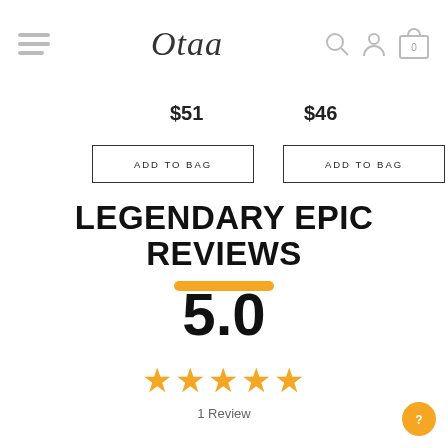Otaa — navigation header with hamburger menu, logo, search, account, and cart icons
$51
$46
ADD TO BAG
ADD TO BAG
LEGENDARY EPIC REVIEWS
5.0
★★★★★
1 Review